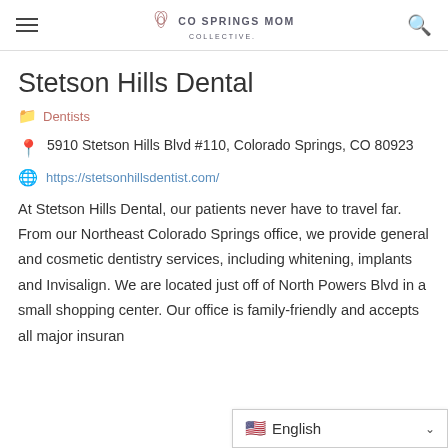CO SPRINGS MOM COLLECTIVE
Stetson Hills Dental
Dentists
5910 Stetson Hills Blvd #110, Colorado Springs, CO 80923
https://stetsonhillsdentist.com/
At Stetson Hills Dental, our patients never have to travel far. From our Northeast Colorado Springs office, we provide general and cosmetic dentistry services, including whitening, implants and Invisalign. We are located just off of North Powers Blvd in a small shopping center. Our office is family-friendly and accepts all major insuran
English